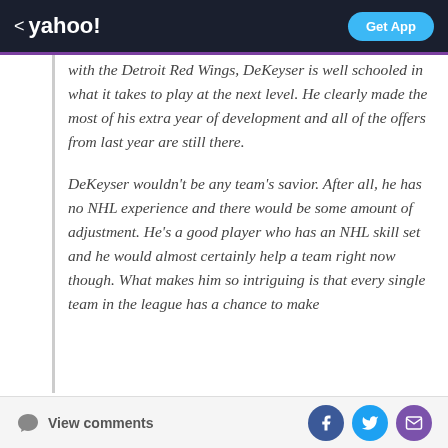< yahoo!   Get App
with the Detroit Red Wings, DeKeyser is well schooled in what it takes to play at the next level. He clearly made the most of his extra year of development and all of the offers from last year are still there.
DeKeyser wouldn't be any team's savior. After all, he has no NHL experience and there would be some amount of adjustment. He's a good player who has an NHL skill set and he would almost certainly help a team right now though. What makes him so intriguing is that every single team in the league has a chance to make
View comments